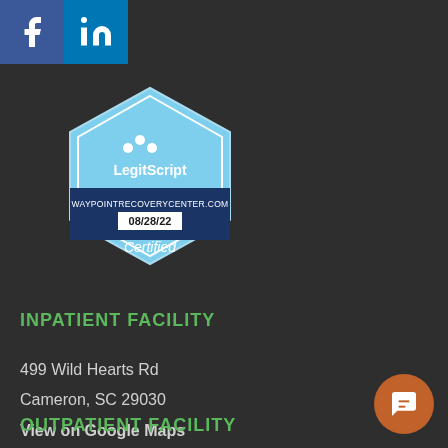[Figure (logo): Facebook icon - blue square with white 'f']
[Figure (logo): LinkedIn icon - blue square with white 'in']
[Figure (logo): LegitScript certified badge for waypointrecoverycenter.com dated 08/28/22]
INPATIENT FACILITY
499 Wild Hearts Rd
Cameron, SC 29030
View on Google Maps
OUTPATIENT FACILITY